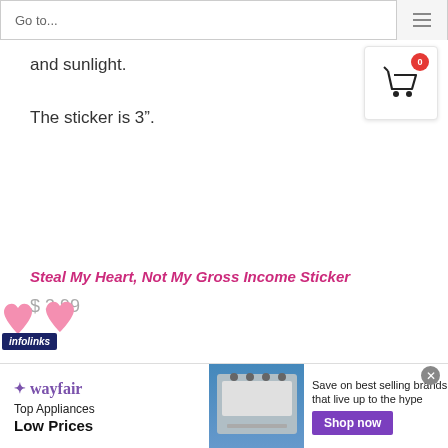Go to...
and sunlight.
The sticker is 3".
Steal My Heart, Not My Gross Income Sticker
$ 3.99
[Figure (illustration): Pink heart-shaped sticker illustration with infolinks badge overlay]
[Figure (screenshot): Wayfair advertisement banner: Top Appliances Low Prices, Save on best selling brands that live up to the hype, Shop now button, appliance image]